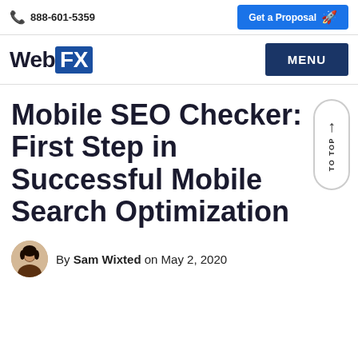📞 888-601-5359 | Get a Proposal
[Figure (logo): WebFX logo with blue FX box and MENU button]
Mobile SEO Checker: First Step in Successful Mobile Search Optimization
[Figure (illustration): TO TOP scroll button with upward arrow]
[Figure (photo): Author headshot avatar of Sam Wixted]
By Sam Wixted on May 2, 2020